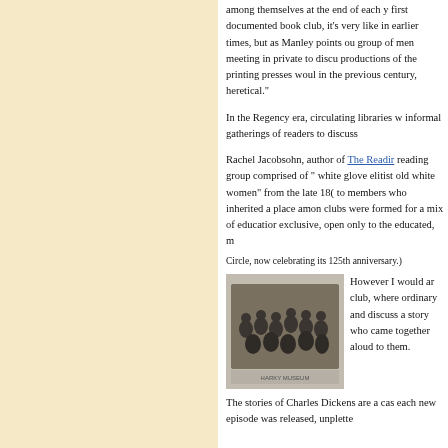among themselves at the end of each y first documented book club, it's very like in earlier times, but as Manley points ou group of men meeting in private to discu productions of the printing presses woul in the previous century, heretical."
In the Regency era, circulating libraries informal gatherings of readers to discuss
Rachel Jacobsohn, author of The Readin reading group comprised of " white glove elitist old white women" from the late 18 to members who inherited a place amon clubs were formed for a mix of education exclusive, open only to the educated, m Circle, now celebrating its 125th anniversary.)
[Figure (photo): Black and white historical photograph of a group of people gathered together, with text 'HARKY MUSEUM' visible at the bottom.]
However I would a club, where ordinary and discuss a story who came together aloud to them.
The stories of Charles Dickens are a ca each new episode was released, unplotte